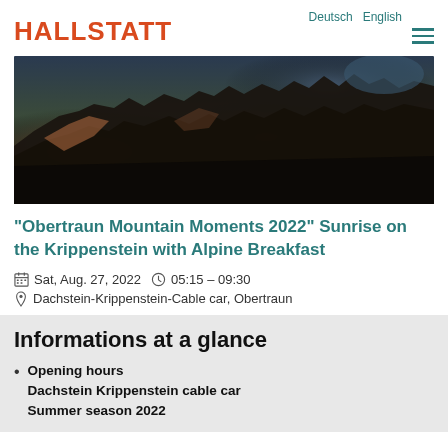HALLSTATT | Deutsch English
[Figure (photo): Rocky mountain landscape at sunrise with dark silhouetted rocks and warm orange/brown tones on the Krippenstein, Dachstein area]
"Obertraun Mountain Moments 2022" Sunrise on the Krippenstein with Alpine Breakfast
Sat, Aug. 27, 2022   05:15 – 09:30
Dachstein-Krippenstein-Cable car, Obertraun
Informations at a glance
Opening hours
Dachstein Krippenstein cable car
Summer season 2022